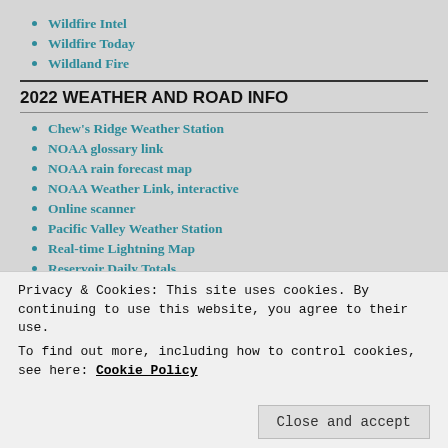Wildfire Intel
Wildfire Today
Wildland Fire
2022 WEATHER AND ROAD INFO
Chew's Ridge Weather Station
NOAA glossary link
NOAA rain forecast map
NOAA Weather Link, interactive
Online scanner
Pacific Valley Weather Station
Real-time Lightning Map
Reservoir Daily Totals
University of Wisconsin, the birthplace of meteorological
Privacy & Cookies: This site uses cookies. By continuing to use this website, you agree to their use. To find out more, including how to control cookies, see here: Cookie Policy
BIG SUR NON-PROFIT ORGANIZATIONS